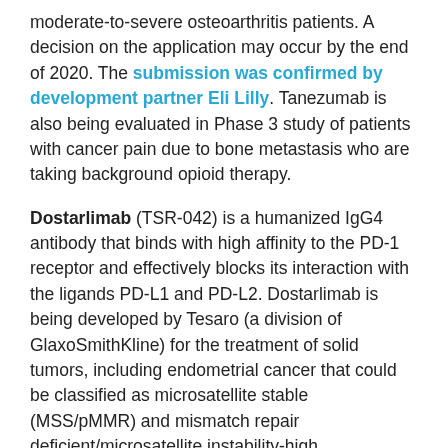moderate-to-severe osteoarthritis patients. A decision on the application may occur by the end of 2020. The submission was confirmed by development partner Eli Lilly. Tanezumab is also being evaluated in Phase 3 study of patients with cancer pain due to bone metastasis who are taking background opioid therapy.
Dostarlimab (TSR-042) is a humanized IgG4 antibody that binds with high affinity to the PD-1 receptor and effectively blocks its interaction with the ligands PD-L1 and PD-L2. Dostarlimab is being developed by Tesaro (a division of GlaxoSmithKline) for the treatment of solid tumors, including endometrial cancer that could be classified as microsatellite stable (MSS/pMMR) and mismatch repair deficient/microsatellite instability-high (dMMR/MSI-H).